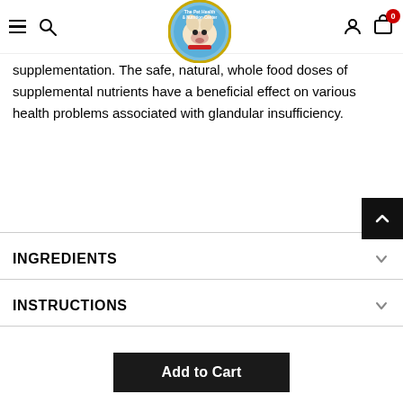The Pet Health & Nutrition Center — navigation bar with hamburger menu, search, logo, user icon, cart (0)
supplementation. The safe, natural, whole food doses of supplemental nutrients have a beneficial effect on various health problems associated with glandular insufficiency.
INGREDIENTS
INSTRUCTIONS
CUSTOMER REVIEWS
Add to Cart